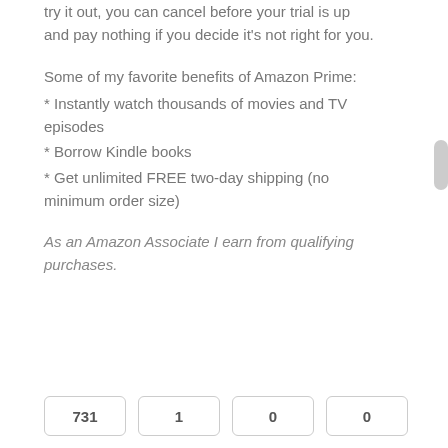try it out, you can cancel before your trial is up and pay nothing if you decide it's not right for you.
Some of my favorite benefits of Amazon Prime:
* Instantly watch thousands of movies and TV episodes
* Borrow Kindle books
* Get unlimited FREE two-day shipping (no minimum order size)
As an Amazon Associate I earn from qualifying purchases.
731   1   0   0